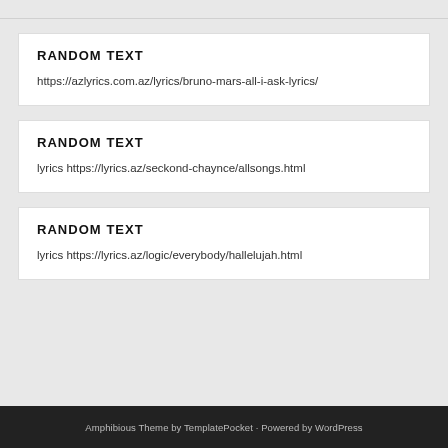RANDOM TEXT
https://azlyrics.com.az/lyrics/bruno-mars-all-i-ask-lyrics/
RANDOM TEXT
lyrics https://lyrics.az/seckond-chaynce/allsongs.html
RANDOM TEXT
lyrics https://lyrics.az/logic/everybody/hallelujah.html
Amphibious Theme by TemplatePocket · Powered by WordPress